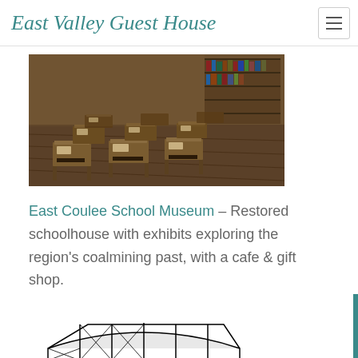East Valley Guest House
[Figure (photo): Interior photograph of a historic classroom with rows of old wooden school desks covered with papers/books, bookshelves visible in the background, warm amber lighting.]
East Coulee School Museum – Restored schoolhouse with exhibits exploring the region's coalmining past, with a cafe & gift shop.
[Figure (illustration): Black and white pen-and-ink style illustration of a large industrial building, likely a coal mine processing facility, with structural steel framework and multi-story construction visible.]